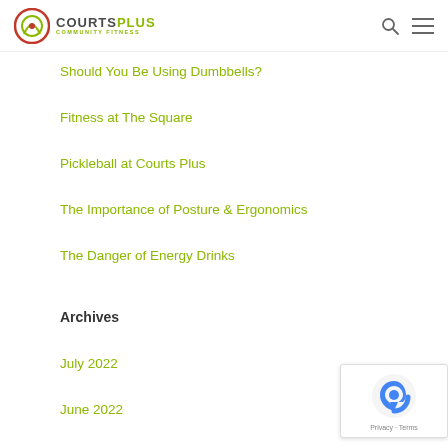Courts Plus Community Fitness
Should You Be Using Dumbbells?
Fitness at The Square
Pickleball at Courts Plus
The Importance of Posture & Ergonomics
The Danger of Energy Drinks
Archives
July 2022
June 2022
May 2022
April 2022